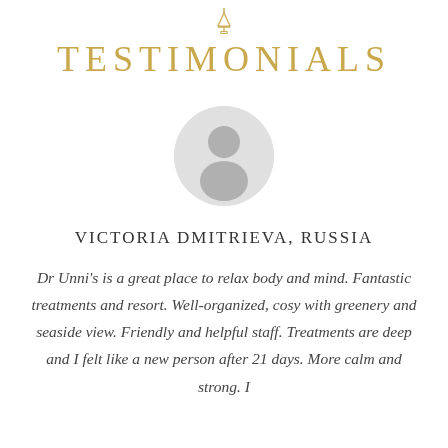[Figure (illustration): Small decorative lamp/lantern icon in gold color at top center]
TESTIMONIALS
[Figure (illustration): Generic grey silhouette avatar placeholder in a circular frame]
VICTORIA DMITRIEVA, RUSSIA
Dr Unni's is a great place to relax body and mind. Fantastic treatments and resort. Well-organized, cosy with greenery and seaside view. Friendly and helpful staff. Treatments are deep and I felt like a new person after 21 days. More calm and strong. I